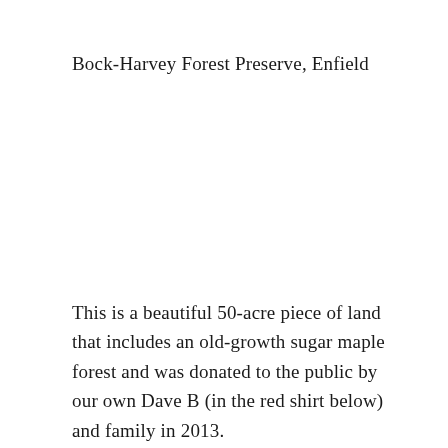Bock-Harvey Forest Preserve, Enfield
This is a beautiful 50-acre piece of land that includes an old-growth sugar maple forest and was donated to the public by our own Dave B (in the red shirt below) and family in 2013.